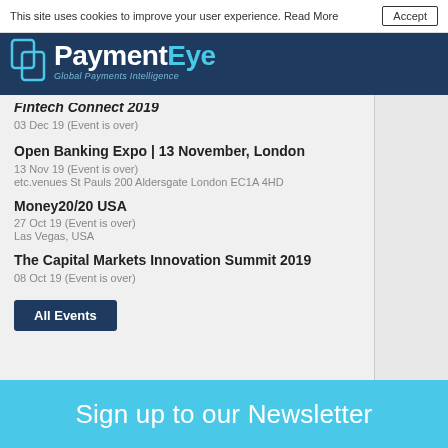This site uses cookies to improve your user experience. Read More  Accept
[Figure (logo): PaymentEye logo with tagline 'Global Payments Intelligence' on dark navy background]
Fintech Connect 2019
03 Dec 19 (Event is over)
Open Banking Expo | 13 November, London
13 Nov 19 (Event is over)
etc.venues St Pauls 200 Aldersgate London EC1A 4HD
Money20/20 USA
27 Oct 19 (Event is over)
Las Vegas, USA
The Capital Markets Innovation Summit 2019
08 Oct 19 (Event is over)
All Events
Sign up to our Newsletter